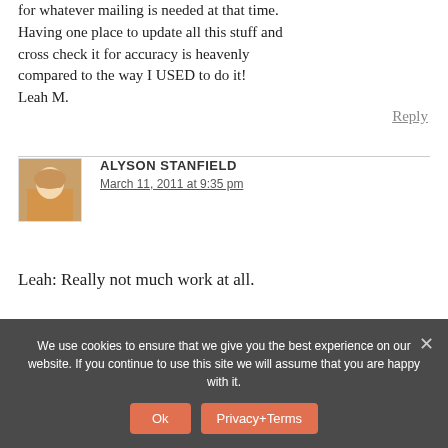for whatever mailing is needed at that time. Having one place to update all this stuff and cross check it for accuracy is heavenly compared to the way I USED to do it! Leah M.
Reply
ALYSON STANFIELD
March 11, 2011 at 9:35 pm
Leah: Really not much work at all.
We use cookies to ensure that we give you the best experience on our website. If you continue to use this site we will assume that you are happy with it.
Ok  Privacy+Terms